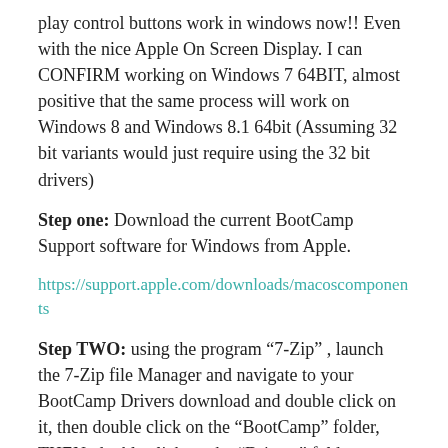play control buttons work in windows now!! Even with the nice Apple On Screen Display. I can CONFIRM working on Windows 7 64BIT, almost positive that the same process will work on Windows 8 and Windows 8.1 64bit (Assuming 32 bit variants would just require using the 32 bit drivers)
Step one: Download the current BootCamp Support software for Windows from Apple.
https://support.apple.com/downloads/macoscomponents
Step TWO: using the program “7-Zip” , launch the 7-Zip file Manager and navigate to your BootCamp Drivers download and double click on it, then double click on the “BootCamp” folder, THEN, double click on the “Drivers” folder, THEN, double click on the “Apple” folder… you should be here now: